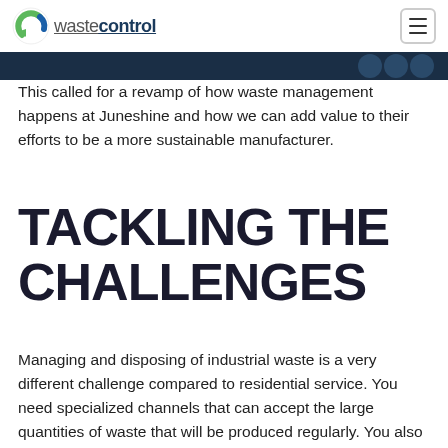wastecontrol [logo + menu button]
This called for a revamp of how waste management happens at Juneshine and how we can add value to their efforts to be a more sustainable manufacturer.
TACKLING THE CHALLENGES
Managing and disposing of industrial waste is a very different challenge compared to residential service. You need specialized channels that can accept the large quantities of waste that will be produced regularly. You also need to ensure that the waste materials are segregated at the source and these can then be processed and transferred to